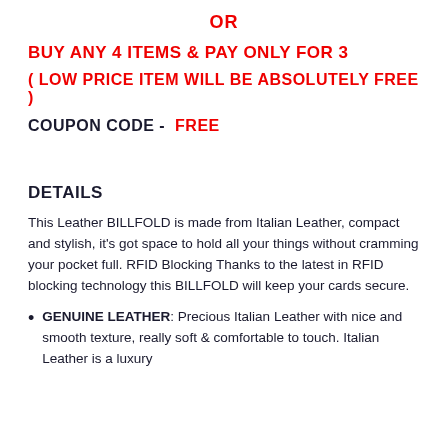OR
BUY ANY 4 ITEMS & PAY ONLY FOR 3
( LOW PRICE ITEM WILL BE ABSOLUTELY FREE )
COUPON CODE -  FREE
DETAILS
This Leather BILLFOLD is made from Italian Leather, compact and stylish, it's got space to hold all your things without cramming your pocket full. RFID Blocking Thanks to the latest in RFID blocking technology this BILLFOLD will keep your cards secure.
GENUINE LEATHER: Precious Italian Leather with nice and smooth texture, really soft & comfortable to touch. Italian Leather is a luxury